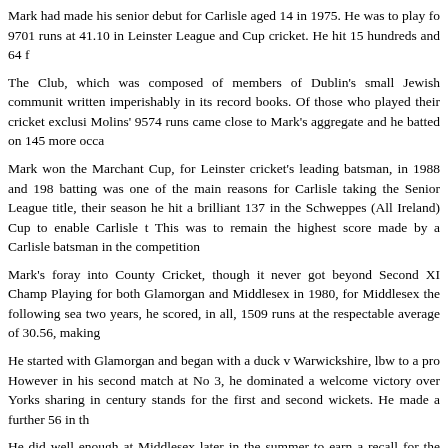Mark had made his senior debut for Carlisle aged 14 in 1975. He was to play fo 9701 runs at 41.10 in Leinster League and Cup cricket. He hit 15 hundreds and 64 f
The Club, which was composed of members of Dublin's small Jewish communit written imperishably in its record books. Of those who played their cricket exclusi Molins' 9574 runs came close to Mark's aggregate and he batted on 145 more occa
Mark won the Marchant Cup, for Leinster cricket's leading batsman, in 1988 and 198 batting was one of the main reasons for Carlisle taking the Senior League title, their season he hit a brilliant 137 in the Schweppes (All Ireland) Cup to enable Carlisle t This was to remain the highest score made by a Carlisle batsman in the competition
Mark's foray into County Cricket, though it never got beyond Second XI Champ Playing for both Glamorgan and Middlesex in 1980, for Middlesex the following sea two years, he scored, in all, 1509 runs at the respectable average of 30.56, making
He started with Glamorgan and began with a duck v Warwickshire, lbw to a pro However in his second match at No 3, he dominated a welcome victory over Yorks sharing in century stands for the first and second wickets. He made a further 56 in th
He did well enough at Middlesex later in the summer to earn a recall for the followi future test man Wilf Slack - later to die an unexplained death while batting - put on 1 going on to 202* before Middlesex declared at 411-5. The match was drawn but not in the second knock. He had just time to return to Glamorgan for the final match of t first innings 98* v Gloucestershire, the innings being closed after 100 overs, a sid This innings put him at the top of the Glamorgan averages.
He found the going difficult for Middlesex the following season but did, however, though he was unable to avert a four wicket defeat. He top scored in both innings, The latter remains his highest score in all cricket of which this writer has seen a s gain him a further contract.
He returned for two final seasons with Glamorgan, but was unable to make the fina